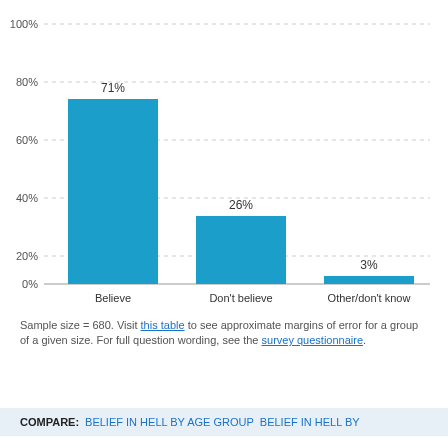[Figure (bar-chart): ]
Sample size = 680. Visit this table to see approximate margins of error for a group of a given size. For full question wording, see the survey questionnaire.
COMPARE: BELIEF IN HELL BY AGE GROUP   BELIEF IN HELL BY